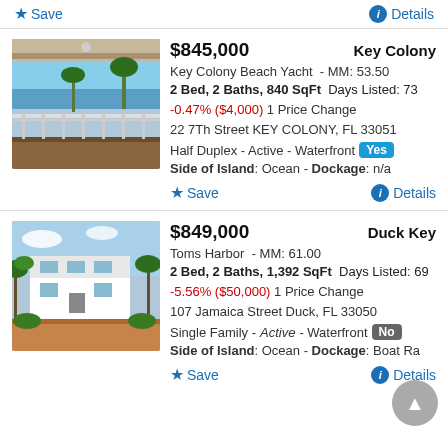Save | Details (top bar)
[Figure (photo): Outdoor covered patio/deck with ocean view, palm trees, and blue sky at Key Colony Beach property]
$845,000  Key Colony
Key Colony Beach Yacht  - MM: 53.50
2 Bed, 2 Baths, 840 SqFt  Days Listed: 73
-0.47% ($4,000) 1 Price Change
22 7Th Street KEY COLONY, FL 33051
Half Duplex - Active - Waterfront Yes
Side of Island: Ocean - Dockage: n/a
Save | Details (first listing)
[Figure (photo): Two-story white house with large driveway surrounded by palm trees and tropical vegetation at Duck Key property]
$849,000  Duck Key
Toms Harbor  - MM: 61.00
2 Bed, 2 Baths, 1,392 SqFt  Days Listed: 69
-5.56% ($50,000) 1 Price Change
107 Jamaica Street Duck, FL 33050
Single Family - Active - Waterfront No
Side of Island: Ocean - Dockage: Boat Ra
Save | Details (second listing)